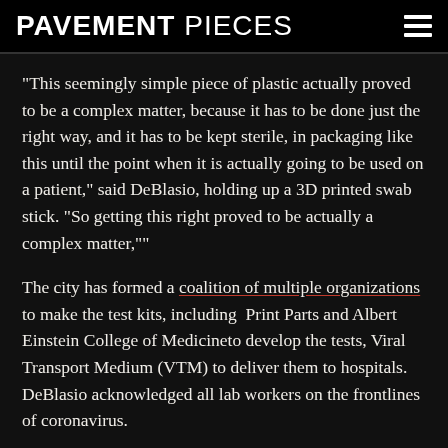PAVEMENT PIECES
“This seemingly simple piece of plastic actually proved to be a complex matter, because it has to be done just the right way, and it has to be kept sterile, in packaging like this until the point when it is actually going to be used on a patient,” said DeBlasio, holding up a 3D printed swab stick. “So getting this right proved to be actually a complex matter,””
The city has formed a coalition of multiple organizations to make the test kits, including Print Parts and Albert Einstein College of Medicineto develop the tests, Viral Transport Medium (VTM) to deliver them to hospitals. DeBlasio acknowledged all lab workers on the frontlines of coronavirus.